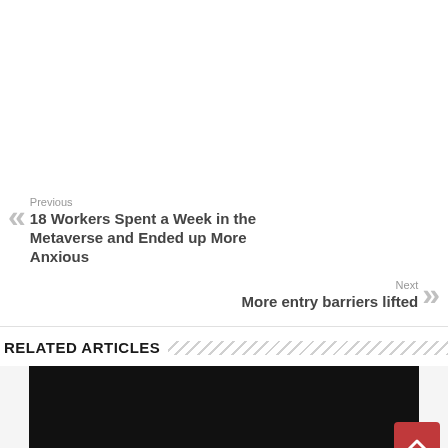Previous
18 Workers Spent a Week in the Metaverse and Ended up More Anxious
Next
More entry barriers lifted
RELATED ARTICLES
[Figure (photo): Dark/black image thumbnail for a related article]